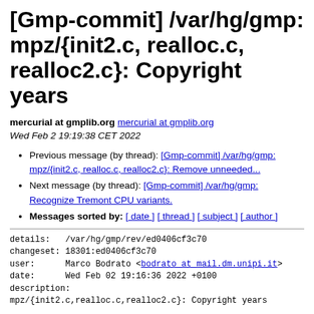[Gmp-commit] /var/hg/gmp: mpz/{init2.c, realloc.c, realloc2.c}: Copyright years
mercurial at gmplib.org mercurial at gmplib.org
Wed Feb 2 19:19:38 CET 2022
Previous message (by thread): [Gmp-commit] /var/hg/gmp: mpz/{init2.c, realloc.c, realloc2.c}: Remove unneeded...
Next message (by thread): [Gmp-commit] /var/hg/gmp: Recognize Tremont CPU variants.
Messages sorted by: [ date ] [ thread ] [ subject ] [ author ]
details:   /var/hg/gmp/rev/ed0406cf3c70
changeset: 18301:ed0406cf3c70
user:      Marco Bodrato <bodrato at mail.dm.unipi.it>
date:      Wed Feb 02 19:16:36 2022 +0100
description:
mpz/{init2.c,realloc.c,realloc2.c}: Copyright years

diffstat: